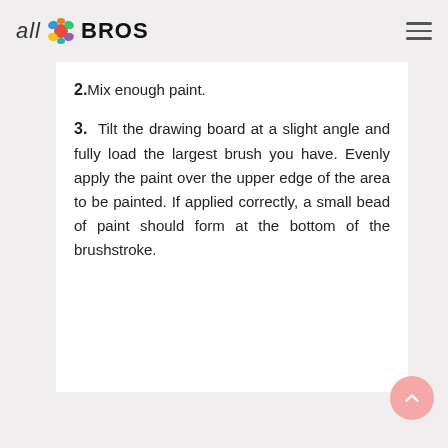all BROS
2. Mix enough paint.
3. Tilt the drawing board at a slight angle and fully load the largest brush you have. Evenly apply the paint over the upper edge of the area to be painted. If applied correctly, a small bead of paint should form at the bottom of the brushstroke.